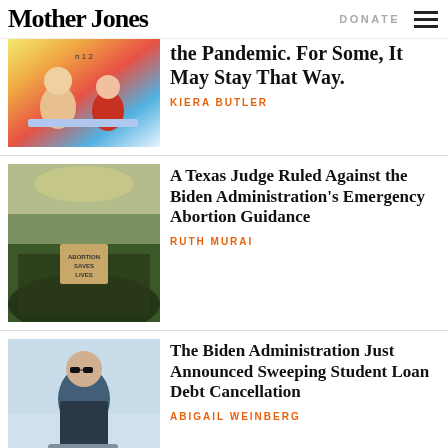Mother Jones | DONATE
the Pandemic. For Some, It May Stay That Way.
KIERA BUTLER
A Texas Judge Ruled Against the Biden Administration's Emergency Abortion Guidance
RUTH MURAI
The Biden Administration Just Announced Sweeping Student Loan Debt Cancellation
ABIGAIL WEINBERG